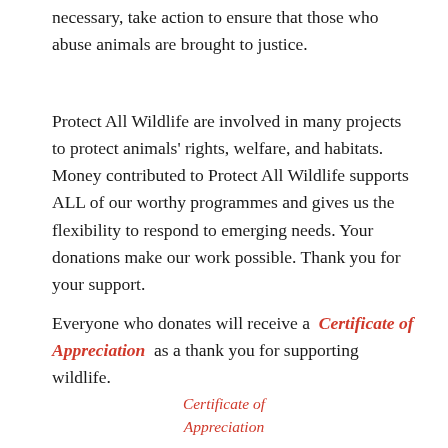necessary, take action to ensure that those who abuse animals are brought to justice.
Protect All Wildlife are involved in many projects to protect animals' rights, welfare, and habitats. Money contributed to Protect All Wildlife supports ALL of our worthy programmes and gives us the flexibility to respond to emerging needs. Your donations make our work possible. Thank you for your support.
Everyone who donates will receive a  Certificate of Appreciation  as a thank you for supporting wildlife.
Certificate of Appreciation